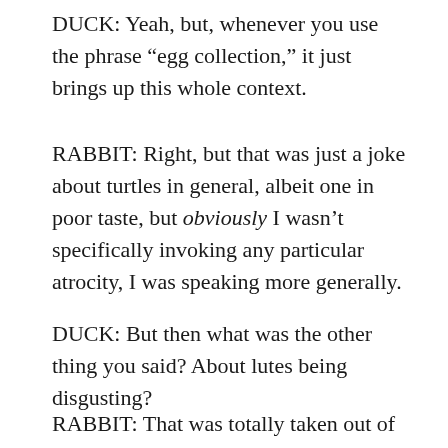DUCK: Yeah, but, whenever you use the phrase “egg collection,” it just brings up this whole context.
RABBIT: Right, but that was just a joke about turtles in general, albeit one in poor taste, but obviously I wasn’t specifically invoking any particular atrocity, I was speaking more generally.
DUCK: But then what was the other thing you said? About lutes being disgusting?
RABBIT: That was totally taken out of context. I was just doing some